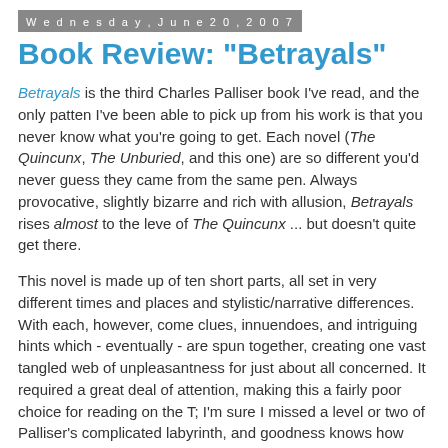Wednesday, June 20, 2007
Book Review: "Betrayals"
Betrayals is the third Charles Palliser book I've read, and the only patten I've been able to pick up from his work is that you never know what you're going to get. Each novel (The Quincunx, The Unburied, and this one) are so different you'd never guess they came from the same pen. Always provocative, slightly bizarre and rich with allusion, Betrayals rises almost to the leve of The Quincunx ... but doesn't quite get there.
This novel is made up of ten short parts, all set in very different times and places and stylistic/narrative differences. With each, however, come clues, innuendoes, and intriguing hints which - eventually - are spun together, creating one vast tangled web of unpleasantness for just about all concerned. It required a great deal of attention, making this a fairly poor choice for reading on the T; I'm sure I missed a level or two of Palliser's complicated labyrinth, and goodness knows how many of his myriad literary references passed me by (I did catch a few at least, and have realized a few